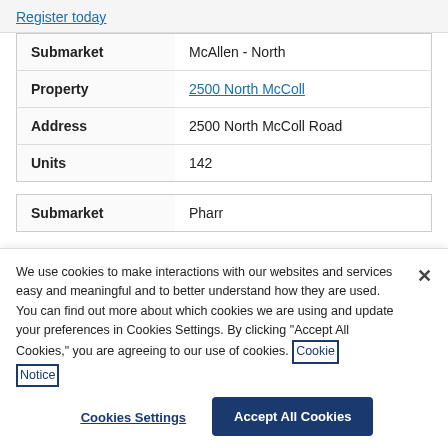Register today
| Submarket | McAllen - North |
| Property | 2500 North McColl |
| Address | 2500 North McColl Road |
| Units | 142 |
| Submarket | Pharr |
We use cookies to make interactions with our websites and services easy and meaningful and to better understand how they are used. You can find out more about which cookies we are using and update your preferences in Cookies Settings. By clicking "Accept All Cookies," you are agreeing to our use of cookies. Cookie Notice
Cookies Settings
Accept All Cookies